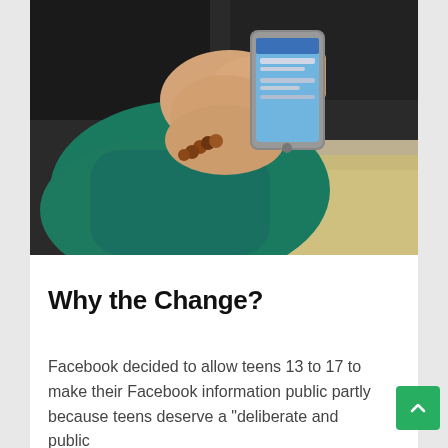[Figure (photo): A young person's hands holding a smartphone, wearing a teal/turquoise hoodie with a beaded bracelet, browsing on the phone screen.]
Why the Change?
Facebook decided to allow teens 13 to 17 to make their Facebook information public partly because teens deserve a "deliberate and public